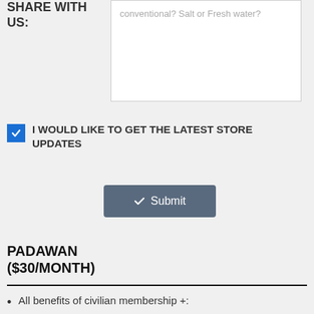SHARE WITH US:
conventional? Salt or Fresh water?
I WOULD LIKE TO GET THE LATEST STORE UPDATES
Submit
PADAWAN ($30/MONTH)
All benefits of civilian membership +: